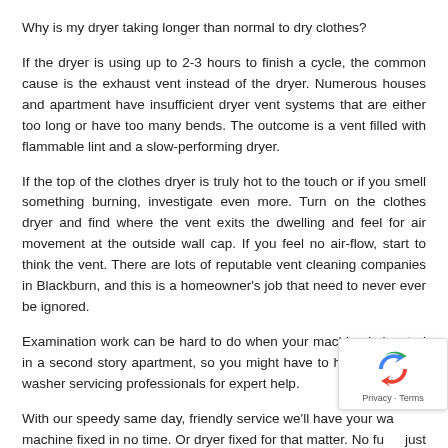Why is my dryer taking longer than normal to dry clothes?
If the dryer is using up to 2-3 hours to finish a cycle, the common cause is the exhaust vent instead of the dryer. Numerous houses and apartment have insufficient dryer vent systems that are either too long or have too many bends. The outcome is a vent filled with flammable lint and a slow-performing dryer.
If the top of the clothes dryer is truly hot to the touch or if you smell something burning, investigate even more. Turn on the clothes dryer and find where the vent exits the dwelling and feel for air movement at the outside wall cap. If you feel no air-flow, start to think the vent. There are lots of reputable vent cleaning companies in Blackburn, and this is a homeowner’s job that need to never ever be ignored.
Examination work can be hard to do when your machine is located in a second story apartment, so you might have to hire among our washer servicing professionals for expert help.
With our speedy same day, friendly service we’ll have your washing machine fixed in no time. Or dryer fixed for that matter. No fuss, just get the job done.